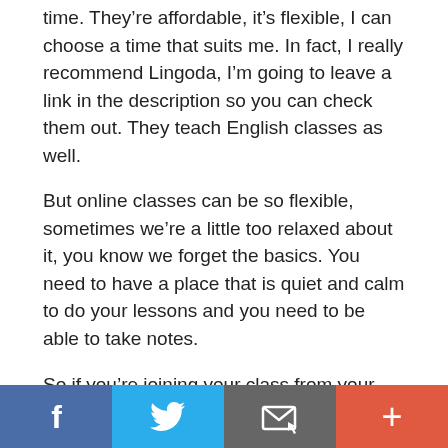time. They’re affordable, it’s flexible, I can choose a time that suits me. In fact, I really recommend Lingoda, I’m going to leave a link in the description so you can check them out. They teach English classes as well.
But online classes can be so flexible, sometimes we’re a little too relaxed about it, you know we forget the basics. You need to have a place that is quiet and calm to do your lessons and you need to be able to take notes.
So if you’re joining your class from your computer, you’ll be able to take notes on your computer but just be aware that if you are
[Figure (infographic): Social media share bar with four buttons: Facebook (blue), Twitter (light blue), Email/share (grey with envelope icon), and plus/more (red-orange)]